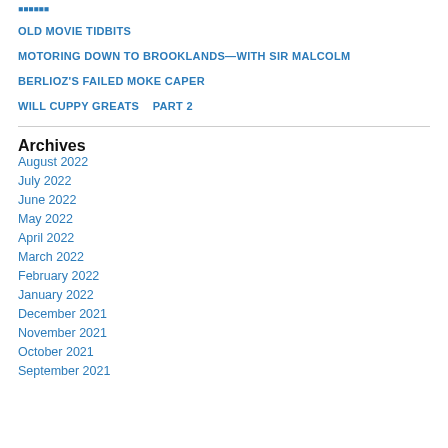OLD MOVIE TIDBITS
MOTORING DOWN TO BROOKLANDS—WITH SIR MALCOLM
BERLIOZ'S FAILED MOKE CAPER
WILL CUPPY GREATS    PART 2
Archives
August 2022
July 2022
June 2022
May 2022
April 2022
March 2022
February 2022
January 2022
December 2021
November 2021
October 2021
September 2021